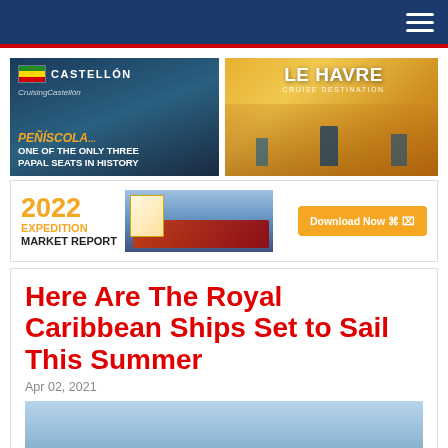Navigation header with hamburger menu
[Figure (illustration): Castellon cruise port advertisement: aerial photo of Peñiscola with text 'CASTELLÓN - PEÑÍSCOLA... ONE OF THE ONLY THREE PAPAL SEATS IN HISTORY']
[Figure (illustration): Le Havre cruise destination advertisement: colorful illustration of cruise ship with people dining, text 'LE HAVRE CRUISE DESTINATION']
[Figure (illustration): 2022 Expedition Market Report advertisement: orange text '2022 EXPEDITION MARKET REPORT' with report cover image and cruise ship, Download Now button]
Here Are The Royal Caribbean Ships Set to Sail This Summer
Apr 02, 2021
[Figure (photo): Partial photo of cruise ship at sea — light blue sky visible at top of image]